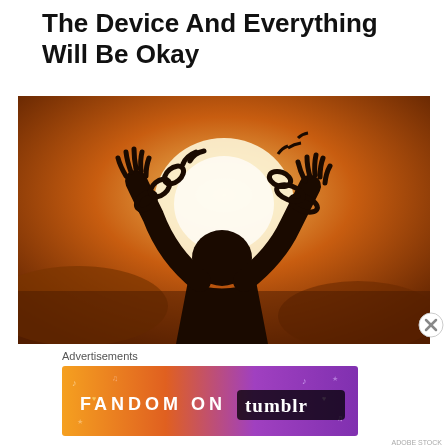The Device And Everything Will Be Okay
[Figure (photo): Silhouette of a person with arms raised upward against a bright orange-golden sun background, with broken chains on both wrists, symbolizing freedom or liberation.]
Advertisements
[Figure (illustration): Fandom on Tumblr advertisement banner with colorful gradient background (orange to purple) with musical notes and heart icons, displaying text 'FANDOM ON tumblr']